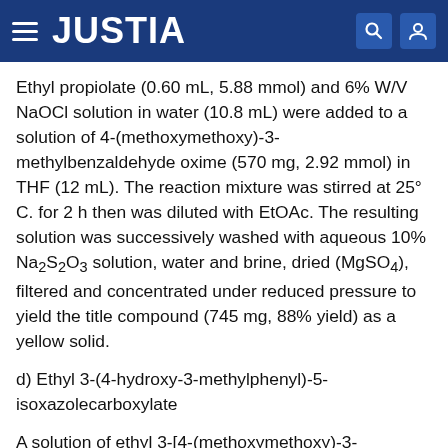JUSTIA
Ethyl propiolate (0.60 mL, 5.88 mmol) and 6% W/V NaOCl solution in water (10.8 mL) were added to a solution of 4-(methoxymethoxy)-3-methylbenzaldehyde oxime (570 mg, 2.92 mmol) in THF (12 mL). The reaction mixture was stirred at 25° C. for 2 h then was diluted with EtOAc. The resulting solution was successively washed with aqueous 10% Na2S2O3 solution, water and brine, dried (MgSO4), filtered and concentrated under reduced pressure to yield the title compound (745 mg, 88% yield) as a yellow solid.
d) Ethyl 3-(4-hydroxy-3-methylphenyl)-5-isoxazolecarboxylate
A solution of ethyl 3-[4-(methoxymethoxy)-3-methylphenyl]-5-isoxazolecarboxylate (725 mg, 2.49 mmol) and aqueous 4 N HCl solution (6 mL) in THF (10